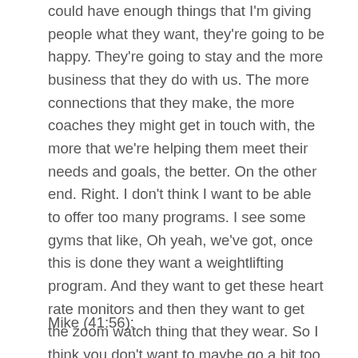could have enough things that I'm giving people what they want, they're going to be happy. They're going to stay and the more business that they do with us. The more connections that they make, the more coaches they might get in touch with, the more that we're helping them meet their needs and goals, the better. On the other end. Right. I don't think I want to be able to offer too many programs. I see some gyms that like, Oh yeah, we've got, once this is done they want a weightlifting program. And they want to get these heart rate monitors and then they want to get the zoom watch thing that they wear. So I think you don't want to maybe go a bit too general in your offerings, where I lose maybe how good I am at some of those offerings too. That makes sense?
Mike (41:56):